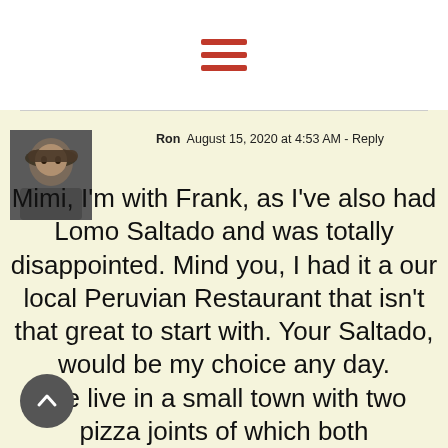[Figure (other): Hamburger menu icon — three horizontal red lines]
Ron  August 15, 2020 at 4:53 AM - Reply
[Figure (photo): Avatar photo of a person wearing a cap and glasses]
Mimi, I'm with Frank, as I've also had Lomo Saltado and was totally disappointed. Mind you, I had it a our local Peruvian Restaurant that isn't that great to start with. Your Saltado, would be my choice any day.
We live in a small town with two pizza joints of which both